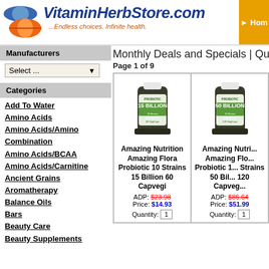[Figure (logo): VitaminHerbStore.com logo with pill illustration and tagline '...Endless choices. Infinite health.']
[Figure (other): Home navigation button (orange/gold)]
Manufacturers
Select ...
Categories
Add To Water
Amino Acids
Amino Acids/Amino Combination
Amino Acids/BCAA
Amino Acids/Carnitine
Ancient Grains
Aromatherapy
Balance Oils
Bars
Beauty Care
Beauty Supplements
Monthly Deals and Specials | Qu...
Page 1 of 9
[Figure (photo): Product photo: Amazing Nutrition Amazing Flora Probiotic 10 Strains 15 Billion 60 Capvegi supplement bottle]
Amazing Nutrition Amazing Flora Probiotic 10 Strains 15 Billion 60 Capvegi
ADP: $23.98
Price: $14.93
Quantity: 1
[Figure (photo): Product photo: Amazing Nutrition Amazing Flora Probiotic 10 Strains 50 Billion 120 Capvegi supplement bottle]
Amazing Nutrition Amazing Flora Probiotic 10 Strains 50 Billion 120 Capvegi
ADP: $86.64
Price: $51.99
Quantity: 1